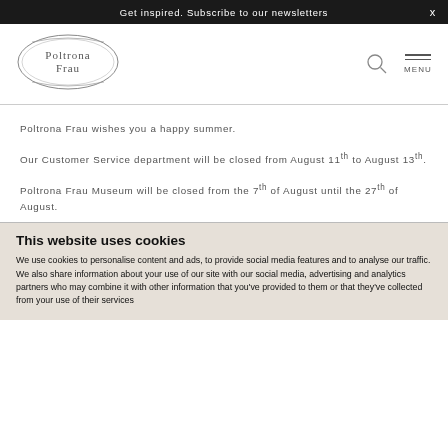Get inspired. Subscribe to our newsletters   x
[Figure (logo): Poltrona Frau ornate oval logo with decorative border]
Poltrona Frau wishes you a happy summer.
Our Customer Service department will be closed from August 11th to August 13th.
Poltrona Frau Museum will be closed from the 7th of August until the 27th of August.
This website uses cookies
We use cookies to personalise content and ads, to provide social media features and to analyse our traffic. We also share information about your use of our site with our social media, advertising and analytics partners who may combine it with other information that you've provided to them or that they've collected from your use of their services